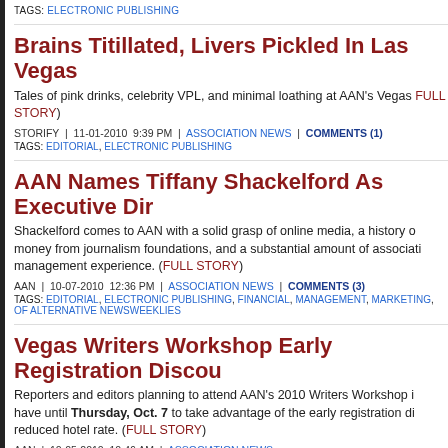TAGS: ELECTRONIC PUBLISHING
Brains Titillated, Livers Pickled In Las Vegas
Tales of pink drinks, celebrity VPL, and minimal loathing at AAN's Vegas (FULL STORY)
STORIFY | 11-01-2010 9:39 PM | ASSOCIATION NEWS | COMMENTS (1)
TAGS: EDITORIAL, ELECTRONIC PUBLISHING
AAN Names Tiffany Shackelford As Executive Director
Shackelford comes to AAN with a solid grasp of online media, a history of money from journalism foundations, and a substantial amount of association management experience. (FULL STORY)
AAN | 10-07-2010 12:36 PM | ASSOCIATION NEWS | COMMENTS (3)
TAGS: EDITORIAL, ELECTRONIC PUBLISHING, FINANCIAL, MANAGEMENT, MARKETING, OF ALTERNATIVE NEWSWEEKLIES
Vegas Writers Workshop Early Registration Discount
Reporters and editors planning to attend AAN's 2010 Writers Workshop in have until Thursday, Oct. 7 to take advantage of the early registration discount and reduced hotel rate. (FULL STORY)
AAN | 10-05-2010 10:46 AM | ASSOCIATION NEWS
TAGS: EDITORIAL, ELECTRONIC PUBLISHING